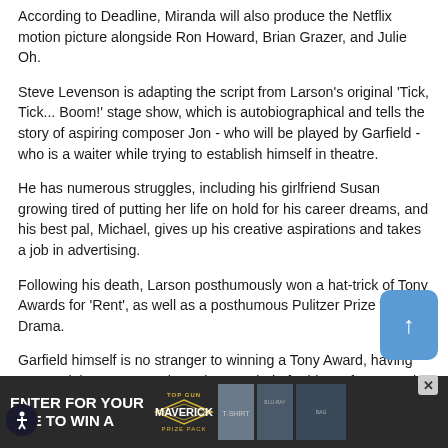According to Deadline, Miranda will also produce the Netflix motion picture alongside Ron Howard, Brian Grazer, and Julie Oh.
Steve Levenson is adapting the script from Larson's original 'Tick, Tick... Boom!' stage show, which is autobiographical and tells the story of aspiring composer Jon - who will be played by Garfield - who is a waiter while trying to establish himself in theatre.
He has numerous struggles, including his girlfriend Susan growing tired of putting her life on hold for his career dreams, and his best pal, Michael, gives up his creative aspirations and takes a job in advertising.
Following his death, Larson posthumously won a hat-trick of Tony Awards for 'Rent', as well as a posthumous Pulitzer Prize for Drama.
Garfield himself is no stranger to winning a Tony Award, having scooped the Best Actor in a Play accolade for his performance in the Broadway version of 'Angels in America', a two-part epic which
[Figure (screenshot): Advertisement banner for Top Gun: Maverick Prize Pack. Dark background with white text 'ENTER FOR YOUR NCE TO WIN A' on left, Top Gun Maverick logo in center, product images on right, and close button X.]